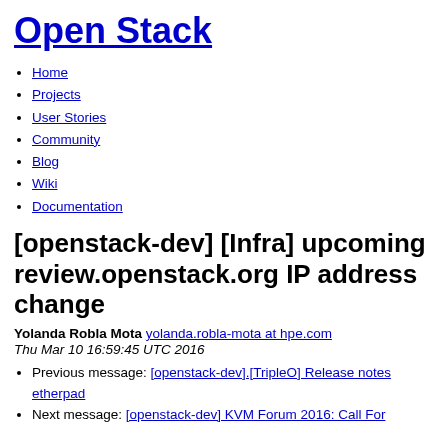Open Stack
Home
Projects
User Stories
Community
Blog
Wiki
Documentation
[openstack-dev] [Infra] upcoming review.openstack.org IP address change
Yolanda Robla Mota yolanda.robla-mota at hpe.com
Thu Mar 10 16:59:45 UTC 2016
Previous message: [openstack-dev].[TripleO] Release notes etherpad
Next message: [openstack-dev] KVM Forum 2016: Call For